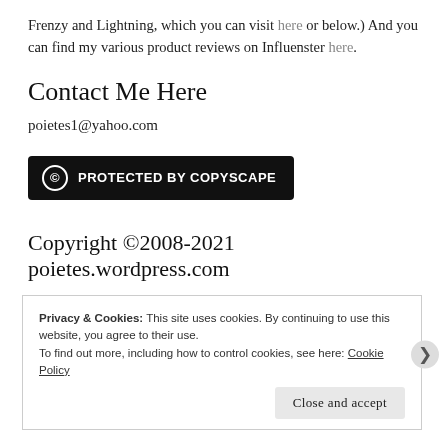Frenzy and Lightning, which you can visit here or below.) And you can find my various product reviews on Influenster here.
Contact Me Here
poietes1@yahoo.com
[Figure (logo): Protected by Copyscape badge — black rounded rectangle with copyright circle icon and bold white text: PROTECTED BY COPYSCAPE]
Copyright ©2008-2021 poietes.wordpress.com
Privacy & Cookies: This site uses cookies. By continuing to use this website, you agree to their use.
To find out more, including how to control cookies, see here: Cookie Policy
Close and accept